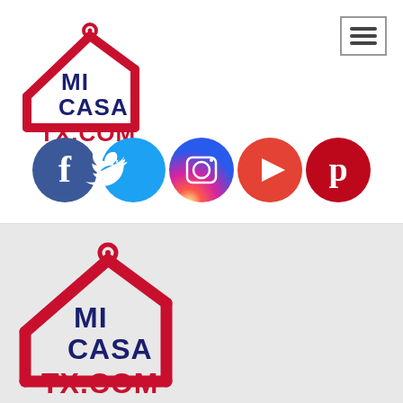[Figure (logo): MiCasaTX.com logo: house outline in red with key tag, text MI CASA in dark navy bold, TX.COM in red bold]
[Figure (other): Hamburger menu button icon (three horizontal lines in a bordered box)]
[Figure (other): Social media icons row: Facebook (blue circle with f), Twitter (cyan circle with bird), Instagram (gradient circle with camera), YouTube (red-orange circle with play button), Pinterest (red circle with P)]
[Figure (logo): MiCasaTX.com logo on gray background: house outline in red with key tag, text MI CASA in dark navy bold, TX.COM in red bold]